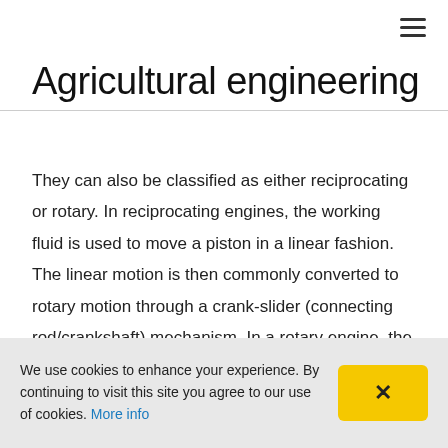≡
Agricultural engineering
They can also be classified as either reciprocating or rotary. In reciprocating engines, the working fluid is used to move a piston in a linear fashion. The linear motion is then commonly converted to rotary motion through a crank-slider (connecting rod/crankshaft) mechanism. In a rotary engine, the working fluid spins a rotor that is directly connected to the output shaft.
We use cookies to enhance your experience. By continuing to visit this site you agree to our use of cookies. More info